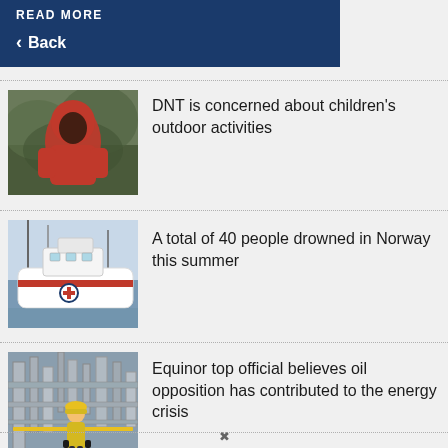READ MORE
< Back
[Figure (photo): Child in red hooded jacket outdoors]
DNT is concerned about children's outdoor activities
[Figure (photo): White and red rescue/coast guard boat docked at harbor]
A total of 40 people drowned in Norway this summer
[Figure (photo): Worker in yellow jacket and helmet at industrial/oil facility]
Equinor top official believes oil opposition has contributed to the energy crisis